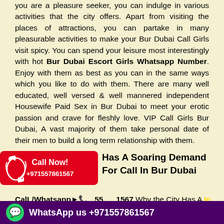you are a pleasure seeker, you can indulge in various activities that the city offers. Apart from visiting the places of attractions, you can partake in many pleasurable activities to make your Bur Dubai Call Girls visit spicy. You can spend your leisure most interestingly with hot Bur Dubai Escort Girls Whatsapp Number. Enjoy with them as best as you can in the same ways which you like to do with them. There are many well educated, well versed & well mannered independent Housewife Paid Sex in Bur Dubai to meet your erotic passion and crave for fleshly love. VIP Call Girls Bur Dubai, A vast majority of them take personal date of their men to build a long term relationship with them.
[Figure (infographic): Red call now button with phone icon and number +971557861567]
Has A Soaring Demand For Call In Bur Dubai
CalL/Whatsapp▶☎ 55 1567 Why the City Has A Soaring Demand For Call In Bur Dubai!! If
[Figure (infographic): WhatsApp banner with green icon and text: WhatsApp us +971557861567]